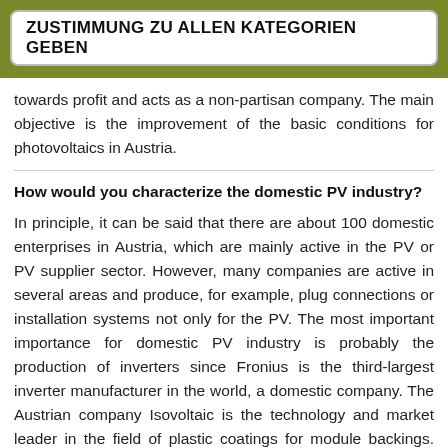ZUSTIMMUNG ZU ALLEN KATEGORIEN GEBEN
towards profit and acts as a non-partisan company. The main objective is the improvement of the basic conditions for photovoltaics in Austria.
How would you characterize the domestic PV industry?
In principle, it can be said that there are about 100 domestic enterprises in Austria, which are mainly active in the PV or PV supplier sector. However, many companies are active in several areas and produce, for example, plug connections or installation systems not only for the PV. The most important importance for domestic PV industry is probably the production of inverters since Fronius is the third-largest inverter manufacturer in the world, a domestic company. The Austrian company Isovoltaic is the technology and market leader in the field of plastic coatings for module backings. We